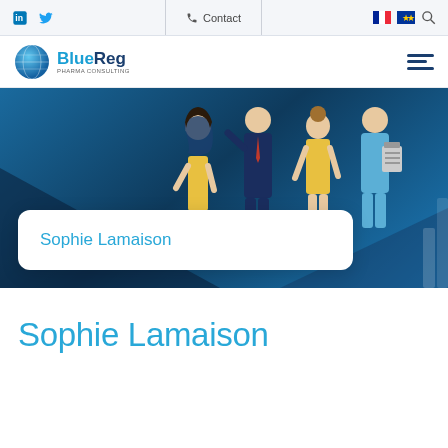in | Twitter | Contact | FR | EU | Search
[Figure (logo): BlueReg Pharma Consulting logo with blue globe icon]
[Figure (illustration): Hero banner with dark blue background showing illustrated silhouettes of four business professionals in blue and yellow, with a diagonal geometric shape overlay]
Sophie Lamaison
Sophie Lamaison